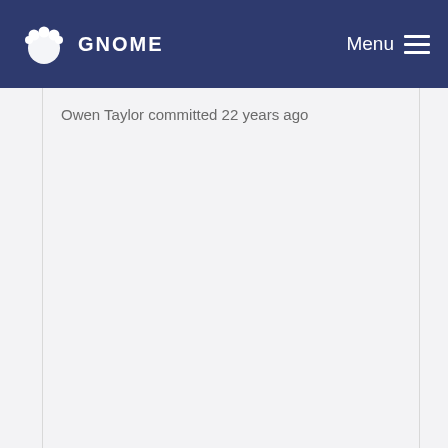GNOME  Menu
Owen Taylor committed 22 years ago